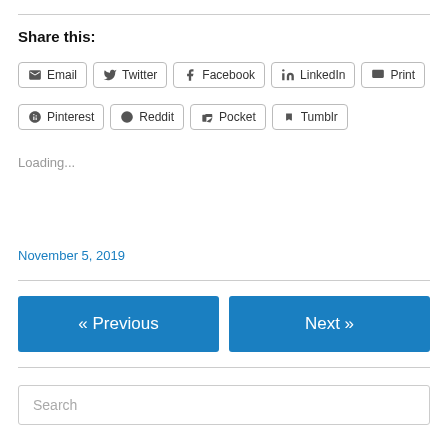Share this:
Email | Twitter | Facebook | LinkedIn | Print
Pinterest | Reddit | Pocket | Tumblr
Loading...
November 5, 2019
« Previous
Next »
Search